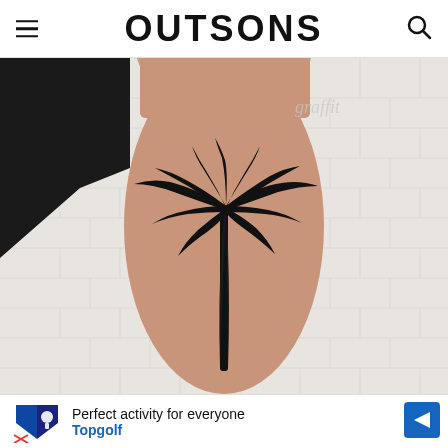OUTSONS
[Figure (photo): A black palm tree tattoo on a person's forearm/leg, set against a white brick wall background. The tattoo shows a detailed silhouette of a palm tree with fronds spreading out from the top. A 'graffit' watermark appears in the upper right of the image.]
Perfect activity for everyone Topgolf